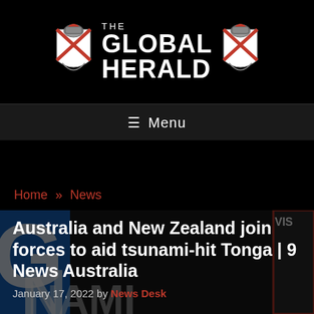[Figure (logo): The Global Herald logo with two heraldic coat of arms shields flanking centered text reading THE GLOBAL HERALD on a black background]
≡ Menu
Home » News
Australia and New Zealand join forces to aid tsunami-hit Tonga | 9 News Australia
January 17, 2022 by News Desk